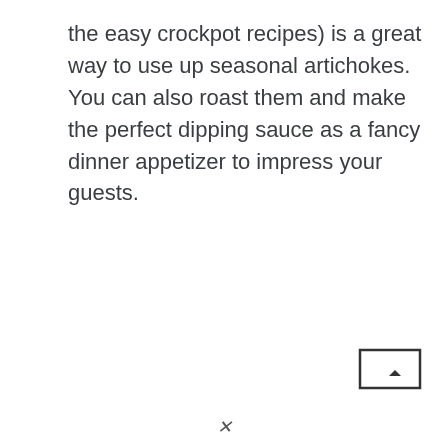the easy crockpot recipes) is a great way to use up seasonal artichokes. You can also roast them and make the perfect dipping sauce as a fancy dinner appetizer to impress your guests.